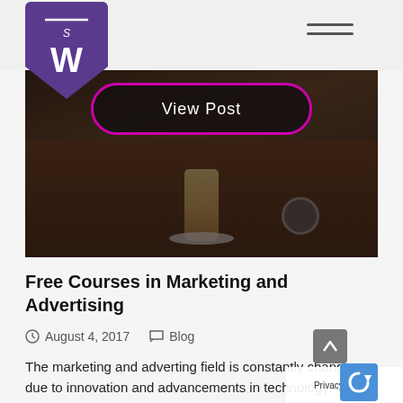WS logo and navigation header
[Figure (photo): Dark moody photo of a coffee shop table with a latte in a glass, a camera, and a person's wrist with a smartwatch. A 'View Post' button overlay appears on the image with a pink/magenta border.]
Free Courses in Marketing and Advertising
August 4, 2017   Blog
The marketing and adverting field is constantly changing due to innovation and advancements in technology. It's important for companies to stay updated on all the new trends and digital devices connect with their clients. Whether you work in